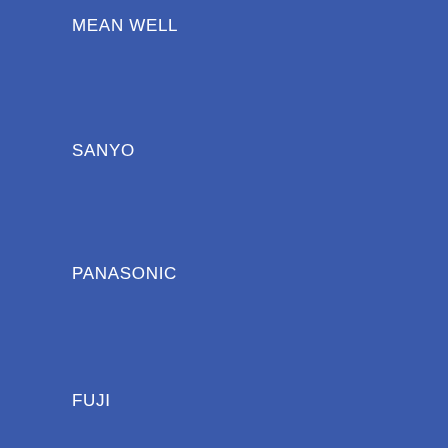MEAN WELL
SANYO
PANASONIC
FUJI
TOSHIBA
TRAVEL CHARGER
THERMOCOUPLE
NMB
BUNDAI